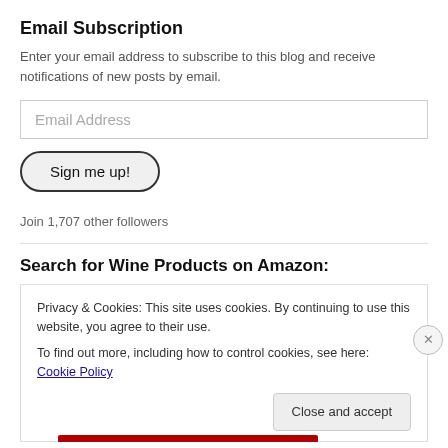Email Subscription
Enter your email address to subscribe to this blog and receive notifications of new posts by email.
Email Address
Sign me up!
Join 1,707 other followers
Search for Wine Products on Amazon:
Privacy & Cookies: This site uses cookies. By continuing to use this website, you agree to their use.
To find out more, including how to control cookies, see here: Cookie Policy
Close and accept